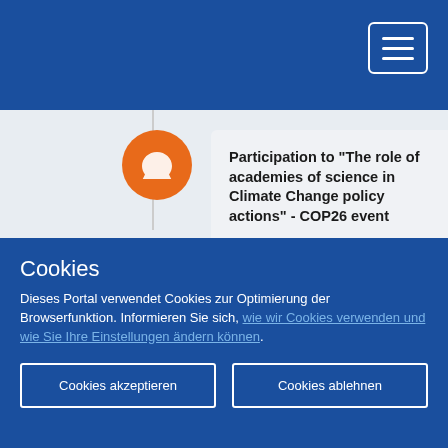Participation to "The role of academies of science in Climate Change policy actions" - COP26 event
The rapporteur joint the panelists in a discussion at the South Africa pavilion in the Blue Zone of COP26 in Glasgow to discuss on
Cookies
Dieses Portal verwendet Cookies zur Optimierung der Browserfunktion. Informieren Sie sich, wie wir Cookies verwenden und wie Sie Ihre Einstellungen ändern können.
Cookies akzeptieren
Cookies ablehnen